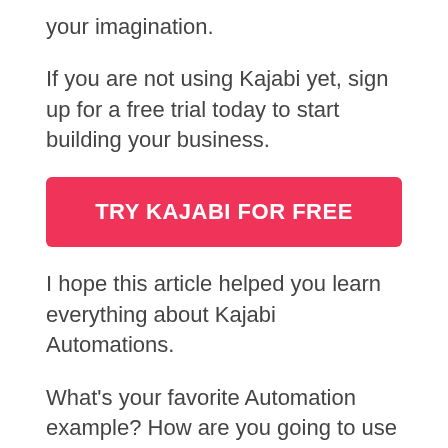your imagination.
If you are not using Kajabi yet, sign up for a free trial today to start building your business.
[Figure (other): Red call-to-action button with white bold text reading TRY KAJABI FOR FREE]
I hope this article helped you learn everything about Kajabi Automations.
What's your favorite Automation example? How are you going to use it in your business? Let us know in the comments below.